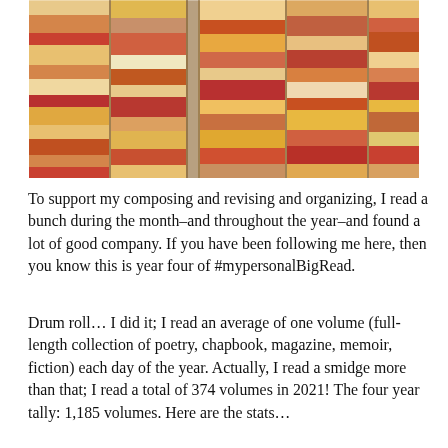[Figure (photo): A large stack of colorful books seen from the side, showing spines in orange, red, yellow, beige, and other warm colors, arranged in multiple columns.]
To support my composing and revising and organizing, I read a bunch during the month–and throughout the year–and found a lot of good company. If you have been following me here, then you know this is year four of #mypersonalBigRead.
Drum roll… I did it; I read an average of one volume (full-length collection of poetry, chapbook, magazine, memoir, fiction) each day of the year. Actually, I read a smidge more than that; I read a total of 374 volumes in 2021! The four year tally: 1,185 volumes. Here are the stats…